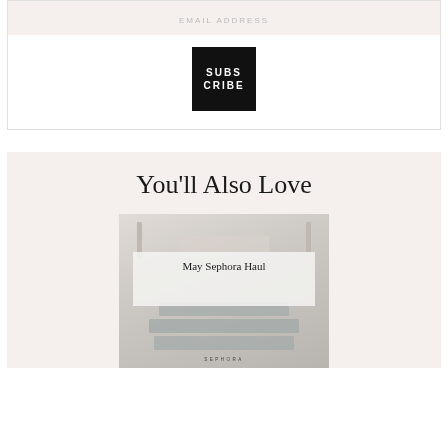EMAIL ADDRESS
SUBSCRIBE
You'll Also Love
[Figure (photo): A bedroom scene with a white bed and decorative pillows, with a semi-transparent overlay card showing 'May Sephora Haul' and Sephora shopping bags in the foreground.]
May Sephora Haul